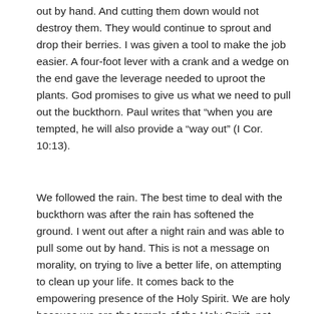out by hand. And cutting them down would not destroy them. They would continue to sprout and drop their berries. I was given a tool to make the job easier. A four-foot lever with a crank and a wedge on the end gave the leverage needed to uproot the plants. God promises to give us what we need to pull out the buckthorn. Paul writes that “when you are tempted, he will also provide a “way out” (I Cor. 10:13).
We followed the rain. The best time to deal with the buckthorn was after the rain has softened the ground. I went out after a night rain and was able to pull some out by hand. This is not a message on morality, on trying to live a better life, on attempting to clean up your life. It comes back to the empowering presence of the Holy Spirit. We are holy because we are the temple of the Holy Spirit, not because we have more will power than other people. We trust in God’s Spirit to enable us to live